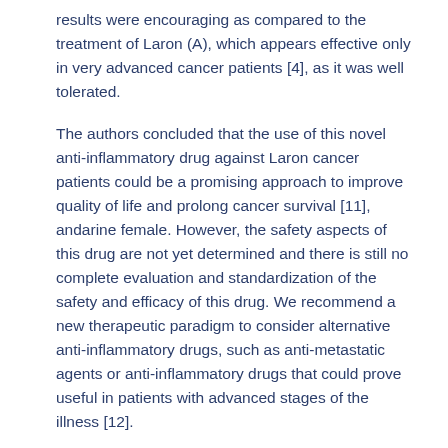results were encouraging as compared to the treatment of Laron (A), which appears effective only in very advanced cancer patients [4], as it was well tolerated.
The authors concluded that the use of this novel anti-inflammatory drug against Laron cancer patients could be a promising approach to improve quality of life and prolong cancer survival [11], andarine female. However, the safety aspects of this drug are not yet determined and there is still no complete evaluation and standardization of the safety and efficacy of this drug. We recommend a new therapeutic paradigm to consider alternative anti-inflammatory drugs, such as anti-metastatic agents or anti-inflammatory drugs that could prove useful in patients with advanced stages of the illness [12].